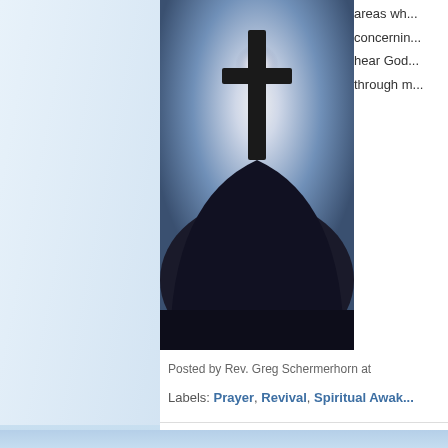[Figure (photo): Silhouette of a cross on top of a dome against a bright backlit sky with glowing halo effect around the cross]
areas wh... concerning... hear God... through m...
Posted by Rev. Greg Schermerhorn at
Labels: Prayer, Revival, Spiritual Awak...
Newer Posts
Subscribe to: Posts (Atom)
© 2010-2014 Rev.Greg Schermerhorn and Equip the K...